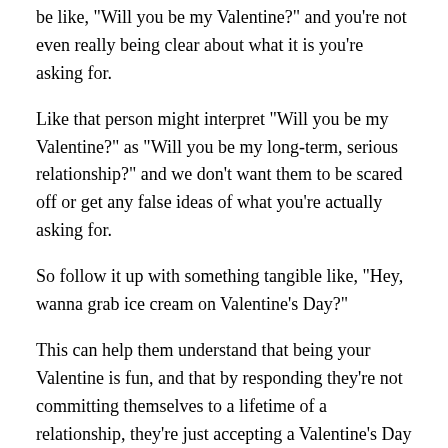be like, "Will you be my Valentine?" and you're not even really being clear about what it is you're asking for.
Like that person might interpret "Will you be my Valentine?" as "Will you be my long-term, serious relationship?" and we don't want them to be scared off or get any false ideas of what you're actually asking for.
So follow it up with something tangible like, "Hey, wanna grab ice cream on Valentine's Day?"
This can help them understand that being your Valentine is fun, and that by responding they're not committing themselves to a lifetime of a relationship, they're just accepting a Valentine's Day date.